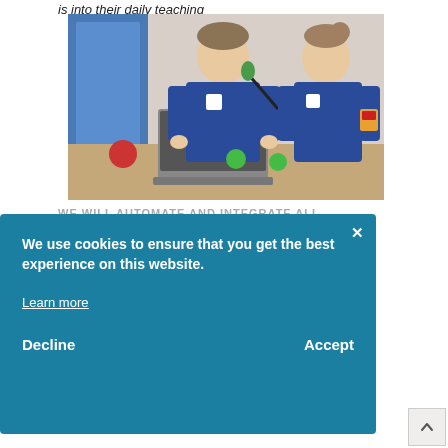is into their daily teaching
[Figure (photo): Two children in blue school uniforms working together on a laptop computer. A boy and girl seated at a table, the boy typing on the laptop. Green toy objects visible on the table. Blue door in background.]
We use cookies to ensure that you get the best experience on this website.

Learn more

Decline   Accept